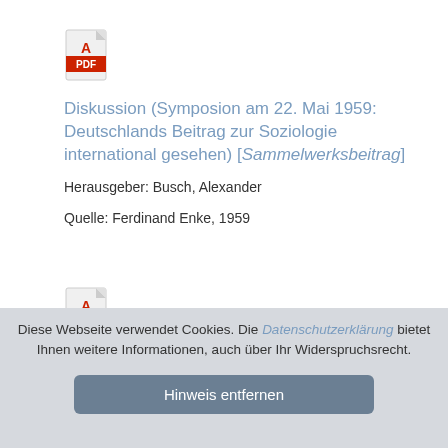[Figure (illustration): PDF file icon with red Adobe-style design, top-right corner folded]
Diskussion (Symposion am 22. Mai 1959: Deutschlands Beitrag zur Soziologie international gesehen) [Sammelwerksbeitrag]
Herausgeber: Busch, Alexander
Quelle: Ferdinand Enke, 1959
[Figure (illustration): PDF file icon with red Adobe-style design, top-right corner folded]
Politikkompetenz kurzgefasst - zur Arbeit mit dem Kompetenzmodell [Sammelwerksbeitrag]
Diese Webseite verwendet Cookies. Die Datenschutzerklärung bietet Ihnen weitere Informationen, auch über Ihr Widerspruchsrecht.
Hinweis entfernen